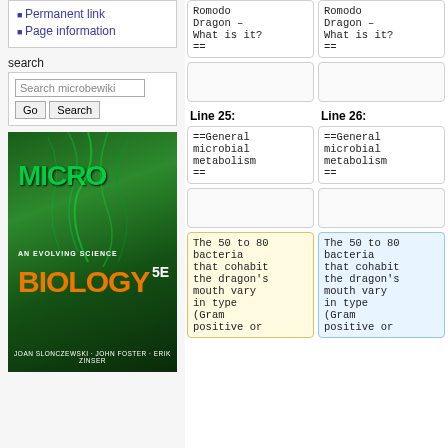Permanent link
Page information
search
[Figure (screenshot): Search bar with input field 'Search microbewiki' and Go / Search buttons]
[Figure (photo): Cover of Microbiology: An Evolving Science, 5th edition by Joan Slonczewski, John Foster, Erik Zinser. Green microscopy image background with large green MICRO and orange BIOLOGY text.]
Romodo Dragon – What is it? ==
Romodo Dragon – What is it? ==
Line 25:
Line 26:
==General microbial metabolism ==
==General microbial metabolism ==
The 50 to 80 bacteria that cohabit the dragon's mouth vary in type (Gram positive or
The 50 to 80 bacteria that cohabit the dragon's mouth vary in type (Gram positive or